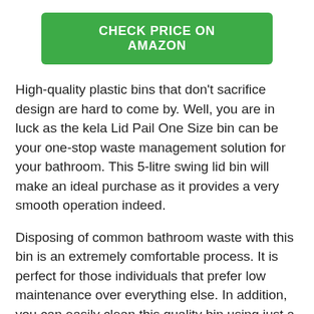[Figure (other): Green button with white bold text reading CHECK PRICE ON AMAZON]
High-quality plastic bins that don't sacrifice design are hard to come by. Well, you are in luck as the kela Lid Pail One Size bin can be your one-stop waste management solution for your bathroom. This 5-litre swing lid bin will make an ideal purchase as it provides a very smooth operation indeed.
Disposing of common bathroom waste with this bin is an extremely comfortable process. It is perfect for those individuals that prefer low maintenance over everything else. In addition, you can easily clean this quality bin using just a damp